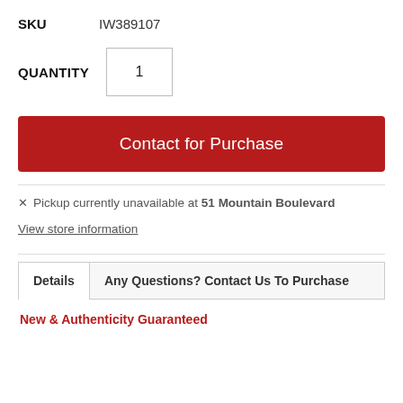SKU    IW389107
QUANTITY  1
Contact for Purchase
✗ Pickup currently unavailable at 51 Mountain Boulevard
View store information
Details    Any Questions? Contact Us To Purchase
New & Authenticity Guaranteed